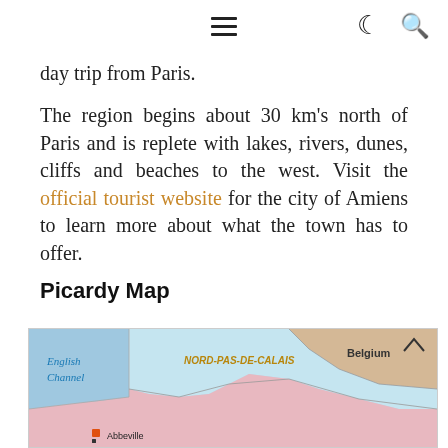☰  ☾  🔍
day trip from Paris.
The region begins about 30 km's north of Paris and is replete with lakes, rivers, dunes, cliffs and beaches to the west. Visit the official tourist website for the city of Amiens to learn more about what the town has to offer.
Picardy Map
[Figure (map): Map showing northern France including the English Channel to the west, Nord-Pas-de-Calais region, Belgium to the northeast, and the town of Abbeville marked in Picardy.]